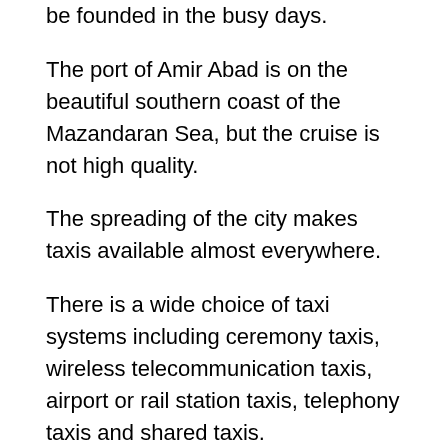be founded in the busy days.
The port of Amir Abad is on the beautiful southern coast of the Mazandaran Sea, but the cruise is not high quality.
The spreading of the city makes taxis available almost everywhere.
There is a wide choice of taxi systems including ceremony taxis, wireless telecommunication taxis, airport or rail station taxis, telephony taxis and shared taxis.
You may call 133 from everywhere of the city and county to ask for a ride anywhere in Sari in less than five minutes or taking you from approximately 20 km far distances (requires first registration) and even to serving